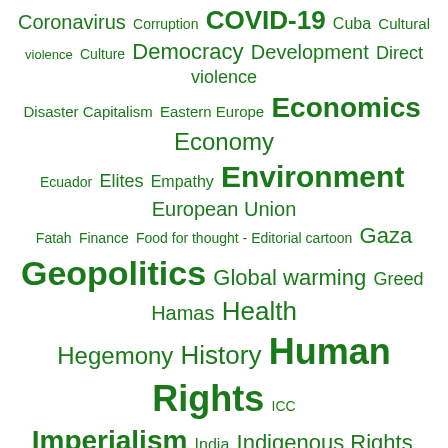[Figure (infographic): Tag cloud / word cloud with topics related to geopolitics, social issues, and global affairs. All terms displayed in green color at varying font sizes indicating frequency/importance. Terms include: Coronavirus, Corruption, COVID-19, Cuba, Cultural violence, Culture, Democracy, Development, Direct violence, Disaster Capitalism, Eastern Europe, Economics, Economy, Ecuador, Elites, Empathy, Environment, European Union, Fatah, Finance, Food for thought - Editorial cartoon, Gaza, Geopolitics, Global warming, Greed, Hamas, Health, Hegemony, History, Human Rights, ICC, Imperialism, India, Indigenous Rights, Inequality, Inspirational, International Relations, Invasion, Israel, Joke, Journalism, Justice, Latin America Caribbean, Literature, Lockdown, Media, MENA, Military, Military Industrial Complex, Military Intervention, Military Supremacy, Music Video, Nakba, NATO, New World Order, Nonviolence, Nuclear Weapons, Occupation, Oslo Accords, Palestine, Palestine/Israel, Pandemic, PCR Tests, Peace, Pentagon, Poetry, Politics, Power, Predatory Capitalism, Profits, Public Health, Racism, Religion, Research, Russia, Science, Science and Medicine, Settlers, Social justice, Solutions, State Terrorism, Structural violence, Super rich, Surveillance, Sweden, Terrorism, Torture, Trump, UK, Ukraine, UN, United Nations, USA, US Military]